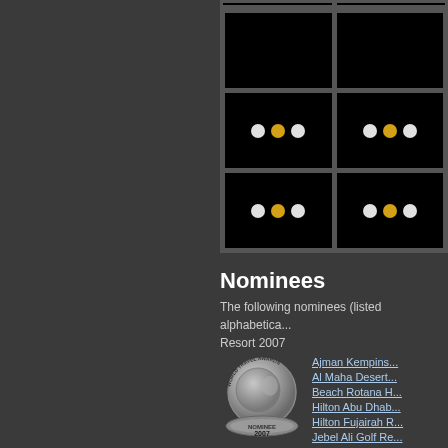[Figure (other): Grid of 6 black image tiles with dot indicators: top row partially cropped, middle row has tiles with gold and white dots (first tile: white-gold-white; second tile: white-gold-white shifted), bottom row has similar dot patterns]
Nominees
The following nominees (listed alphabetically... Resort 2007
[Figure (logo): World Travel Awards Nominee 2007 silver medallion logo]
Ajman Kempins...
Al Maha Desert...
Beach Rotana H...
Hilton Abu Dhab...
Hilton Fujairah R...
Jebel Ali Golf Re...
Jumeirah Beach...